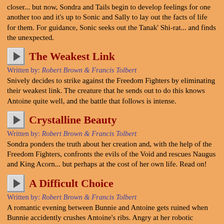closer... but now, Sondra and Tails begin to develop feelings for one another too and it's up to Sonic and Sally to lay out the facts of life for them. For guidance, Sonic seeks out the Tanak' Shi-rat... and finds the unexpected.
The Weakest Link
Written by: Robert Brown & Francis Tolbert
Snively decides to strike against the Freedom Fighters by eliminating their weakest link. The creature that he sends out to do this knows Antoine quite well, and the battle that follows is intense.
Crystalline Beauty
Written by: Robert Brown & Francis Tolbert
Sondra ponders the truth about her creation and, with the help of the Freedom Fighters, confronts the evils of the Void and rescues Naugus and King Acorn... but perhaps at the cost of her own life. Read on!
A Difficult Choice
Written by: Robert Brown & Francis Tolbert
A romantic evening between Bunnie and Antoine gets ruined when Bunnie accidently crushes Antoine's ribs. Angry at her robotic